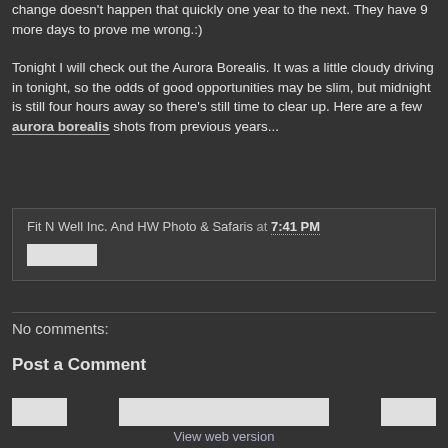change doesn't happen that quickly one year to the next. They have 9 more days to prove me wrong.:)
Tonight I will check out the Aurora Borealis. It was a little cloudy driving in tonight, so the odds of good opportunities may be slim, but midnight is still four hours away so there's still time to clear up. Here are a few aurora borealis shots from previous years...
Fit N Well Inc. And HW Photo & Safaris at 7:41 PM
No comments:
Post a Comment
View web version